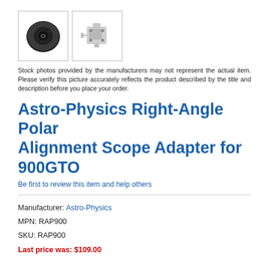[Figure (photo): Two product thumbnail images of Astro-Physics Right-Angle Polar Alignment Scope Adapter: left shows a circular black disc component, right shows a mounted adapter bracket with screws.]
Stock photos provided by the manufacturers may not represent the actual item. Please verify this picture accurately reflects the product described by the title and description before you place your order.
Astro-Physics Right-Angle Polar Alignment Scope Adapter for 900GTO
Be first to review this item and help others
Manufacturer: Astro-Physics
MPN: RAP900
SKU: RAP900
Last price was: $109.00